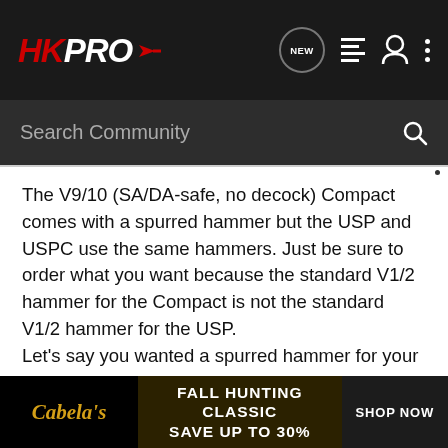HKPRO — Navigation bar with logo, NEW icon, list icon, user icon, more icon
Search Community
The V9/10 (SA/DA-safe, no decock) Compact comes with a spurred hammer but the USP and USPC use the same hammers. Just be sure to order what you want because the standard V1/2 hammer for the Compact is not the standard V1/2 hammer for the USP. Let's say you wanted a spurred hammer for your V1/2 Compact, order the V1/2 hammer for the USP or the V9/10 hammer for either. But if you wanted a bobbed hammer for the USP V1/2/3/4 make sure you do not order the bobbed hammer for the USP or USPC V5/6 or V7 because those are DAO hammers and are not the same as the SA/DA hammer. In this case you would want the V1/2 or V3/4 hammer for the Compact
[Figure (screenshot): Cabela's Fall Hunting Classic advertisement banner — FALL HUNTING CLASSIC SAVE UP TO 30% SHOP NOW]